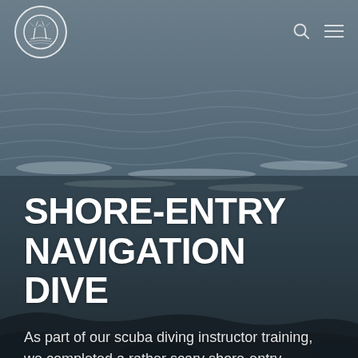[Figure (photo): Ocean waves crashing on a rocky shore at Umkomaas, KwaZulu Natal, dark moody sky with grey-blue tones. A circular logo with palm trees appears in the top left corner of the header.]
SHORE-ENTRY NAVIGATION DIVE
As part of our scuba diving instructor training, we completed a rather scary shore-entry navigation dive after the flooding in Umkomaas, KwaZulu Natal
April 2, 2001  By Victoria Koning